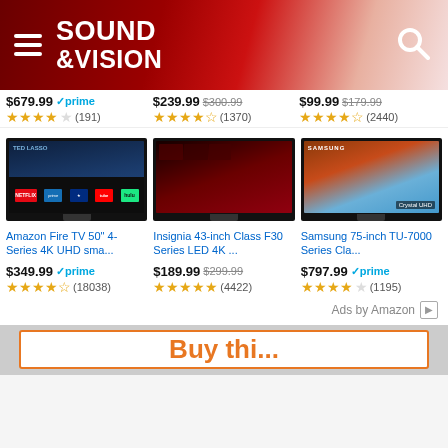Sound & Vision
$679.99 prime ★★★★☆ (191)
$239.99 $300.99 ★★★★½ (1370)
$99.99 $179.99 ★★★★½ (2440)
[Figure (screenshot): Amazon Fire TV product image - dark TV with streaming app icons]
[Figure (screenshot): Insignia TV product image - dark red screen]
[Figure (screenshot): Samsung Crystal UHD TV product image]
Amazon Fire TV 50" 4-Series 4K UHD sma...
Insignia 43-inch Class F30 Series LED 4K ...
Samsung 75-inch TU-7000 Series Cla...
$349.99 prime ★★★★½ (18038)
$189.99 $299.99 ★★★★½ (4422)
$797.99 prime ★★★★☆ (1195)
Ads by Amazon ▷
Buy thi...